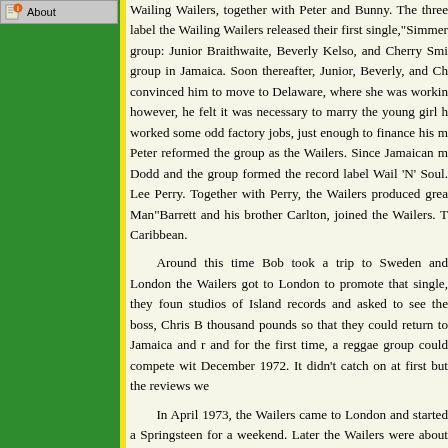[Figure (other): Small icon/logo with orange circle and document symbol next to 'About' text in a gray box]
Wailing Wailers, together with Peter and Bunny. The three label the Wailing Wailers released their first single,"Simmer group: Junior Braithwaite, Beverly Kelso, and Cherry Smi group in Jamaica. Soon thereafter, Junior, Beverly, and Ch convinced him to move to Delaware, where she was workin however, he felt it was necessary to marry the young girl h worked some odd factory jobs, just enough to finance his m Peter reformed the group as the Wailers. Since Jamaican m Dodd and the group formed the record label Wail 'N' Soul. Lee Perry. Together with Perry, the Wailers produced grea Man"Barrett and his brother Carlton, joined the Wailers. T Caribbean.
Around this time Bob took a trip to Sweden and London the Wailers got to London to promote that single, they foun studios of Island records and asked to see the boss, Chris B thousand pounds so that they could return to Jamaica and r and for the first time, a reggae group could compete wit December 1972. It didn't catch on at first but the reviews we
In April 1973, the Wailers came to London and started a Springsteen for a weekend. Later the Wailers were about to were fired because they were too good. The band was left i were they did a live concert broadcast for the radio station like"Duppy Conqueror","Small Axe"and"Put It On"toget released"Natty Dread". During that period Bunny and Pete when they began playing with Bob. Another reason why tour.The band was renamed Bob Marley and the Wailers an When the band performed at the Lyceum, the show was re Jamaican Institute for the blind, Bob, Bunny, and Peter di Vibration"was released in 1976 and boosted into the charts